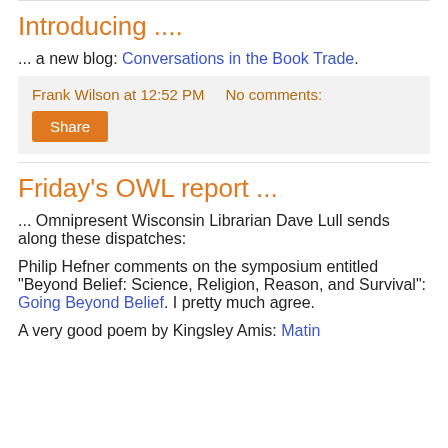Introducing ....
... a new blog: Conversations in the Book Trade.
Frank Wilson at 12:52 PM   No comments:
Share
Friday's OWL report ...
... Omnipresent Wisconsin Librarian Dave Lull sends along these dispatches:
Philip Hefner comments on the symposium entitled "Beyond Belief: Science, Religion, Reason, and Survival": Going Beyond Belief. I pretty much agree.
A very good poem by Kingsley Amis: Matin